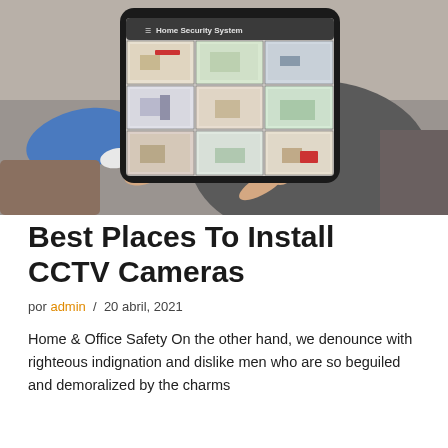[Figure (photo): Person sitting on a couch holding a tablet showing a Home Security System app with a 3x3 grid of CCTV camera feeds of various rooms. The person is wearing a blue sweater and grey pants and is touching the tablet screen with one finger.]
Best Places To Install CCTV Cameras
por admin / 20 abril, 2021
Home & Office Safety On the other hand, we denounce with righteous indignation and dislike men who are so beguiled and demoralized by the charms